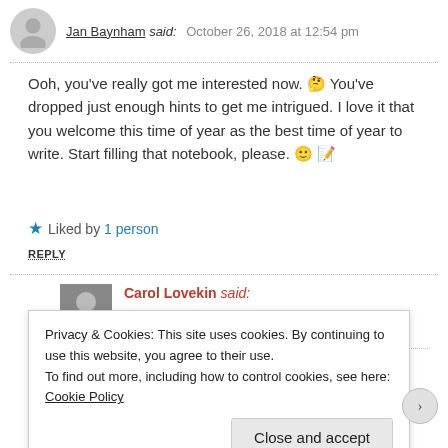Jan Baynham said: October 26, 2018 at 12:54 pm
Ooh, you've really got me interested now. 🤔 You've dropped just enough hints to get me intrigued. I love it that you welcome this time of year as the best time of year to write. Start filling that notebook, please. 🙂 📝
★ Liked by 1 person
REPLY
Carol Lovekin said: October 26, 2018 at 12:57 pm
Will do! Thanks, Jan! xXx
Privacy & Cookies: This site uses cookies. By continuing to use this website, you agree to their use.
To find out more, including how to control cookies, see here: Cookie Policy
Close and accept